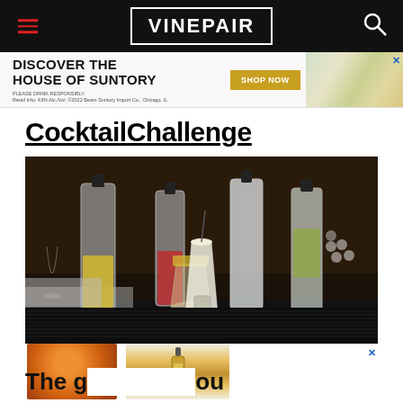VINEPAIR
[Figure (photo): Advertisement banner for House of Suntory with SHOP NOW button and decorative background]
CocktailChallenge
[Figure (photo): Photo of cocktail bar scene with multiple bottles and glasses filled with cocktails on a dark bar surface]
[Figure (photo): Bottom advertisement showing an orange citrus fruit and a wine bottle]
The g ou